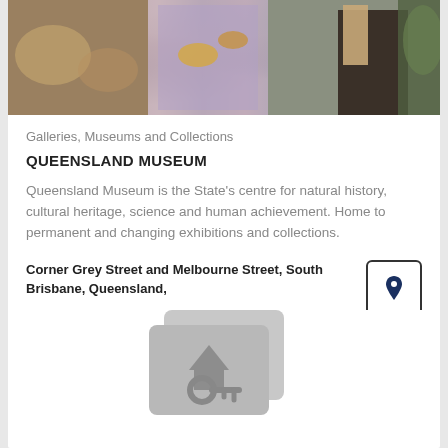[Figure (photo): Photo of museum exhibits with a person wearing a black top interacting with displays, including animal specimens and colorful exhibits]
Galleries, Museums and Collections
QUEENSLAND MUSEUM
Queensland Museum is the State's centre for natural history, cultural heritage, science and human achievement. Home to permanent and changing exhibitions and collections.
Corner Grey Street and Melbourne Street, South Brisbane, Queensland,
[Figure (illustration): Placeholder image showing a house with key icon in grey, indicating image coming soon]
Image Coming